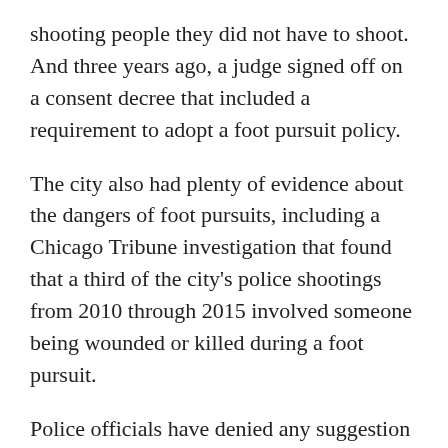shooting people they did not have to shoot. And three years ago, a judge signed off on a consent decree that included a requirement to adopt a foot pursuit policy.
The city also had plenty of evidence about the dangers of foot pursuits, including a Chicago Tribune investigation that found that a third of the city's police shootings from 2010 through 2015 involved someone being wounded or killed during a foot pursuit.
Police officials have denied any suggestion they have been dragging their feet, pointing out that the department has met the established deadlines.
But Chicago has not taken the lead on the issue, with other major cities such as Baltimore, Philadelphia and Portland, Oregon, already having implemented foot pursuit policies and Futterman said the department